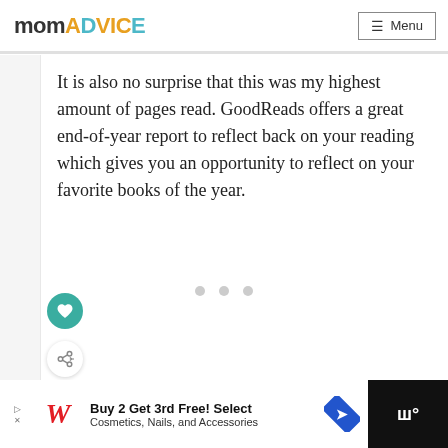momADVICE  ☰ Menu
It is also no surprise that this was my highest amount of pages read. GoodReads offers a great end-of-year report to reflect back on your reading which gives you an opportunity to reflect on your favorite books of the year.
[Figure (other): Three grey dots indicating a pagination or loading indicator]
Buy 2 Get 3rd Free! Select Cosmetics, Nails, and Accessories — Walgreens advertisement